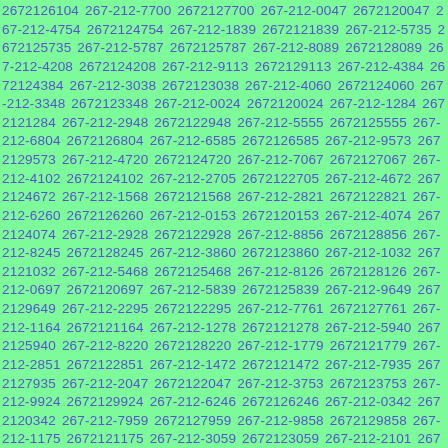2672126104 267-212-7700 2672127700 267-212-0047 2672120047 267-212-4754 2672124754 267-212-1839 2672121839 267-212-5735 2672125735 267-212-5787 2672125787 267-212-8089 2672128089 267-212-4208 2672124208 267-212-9113 2672129113 267-212-4384 2672124384 267-212-3038 2672123038 267-212-4060 2672124060 267-212-3348 2672123348 267-212-0024 2672120024 267-212-1284 2672121284 267-212-2948 2672122948 267-212-5555 2672125555 267-212-6804 2672126804 267-212-6585 2672126585 267-212-9573 2672129573 267-212-4720 2672124720 267-212-7067 2672127067 267-212-4102 2672124102 267-212-2705 2672122705 267-212-4672 2672124672 267-212-1568 2672121568 267-212-2821 2672122821 267-212-6260 2672126260 267-212-0153 2672120153 267-212-4074 2672124074 267-212-2928 2672122928 267-212-8856 2672128856 267-212-8245 2672128245 267-212-3860 2672123860 267-212-1032 2672121032 267-212-5468 2672125468 267-212-8126 2672128126 267-212-0697 2672120697 267-212-5839 2672125839 267-212-9649 2672129649 267-212-2295 2672122295 267-212-7761 2672127761 267-212-1164 2672121164 267-212-1278 2672121278 267-212-5940 2672125940 267-212-8220 2672128220 267-212-1779 2672121779 267-212-2851 2672122851 267-212-1472 2672121472 267-212-7935 2672127935 267-212-2047 2672122047 267-212-3753 2672123753 267-212-9924 2672129924 267-212-6246 2672126246 267-212-0342 2672120342 267-212-7959 2672127959 267-212-9858 2672129858 267-212-1175 2672121175 267-212-3059 2672123059 267-212-2101 2672122101 267-212-6633 2672126633 267-212-8958 2672128958 267-212-1055 2672121055 267-212-5570 2672125570 267-212-1100